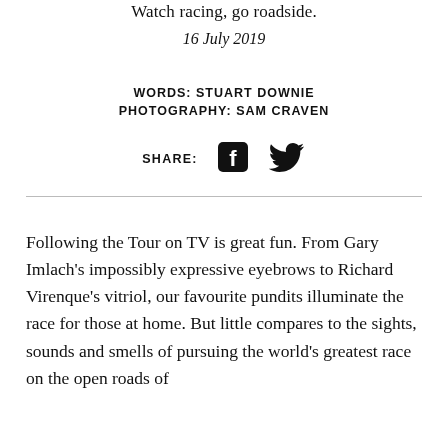Watch racing, go roadside.
16 July 2019
WORDS: STUART DOWNIE
PHOTOGRAPHY: SAM CRAVEN
SHARE:
Following the Tour on TV is great fun. From Gary Imlach’s impossibly expressive eyebrows to Richard Virenque’s vitriol, our favourite pundits illuminate the race for those at home. But little compares to the sights, sounds and smells of pursuing the world’s greatest race on the open roads of